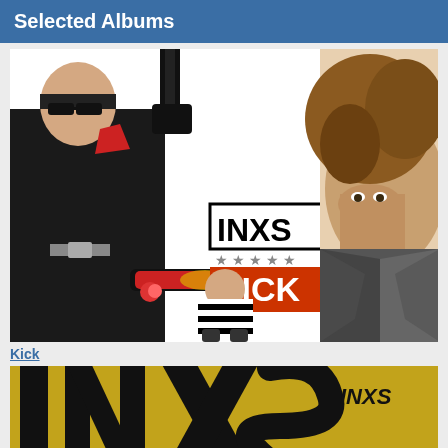Selected Albums
[Figure (photo): INXS Kick album cover showing band members in black outfits, a person on a skateboard, and a close-up of Michael Hutchence with curly hair in a leather jacket. White background with 'INXS' in black text and 'KICK' in red/orange text with stars.]
Kick
[Figure (photo): INXS album cover with yellow-gold background and large black painted letters visible partially at bottom of page, with 'INXS' text in upper right.]